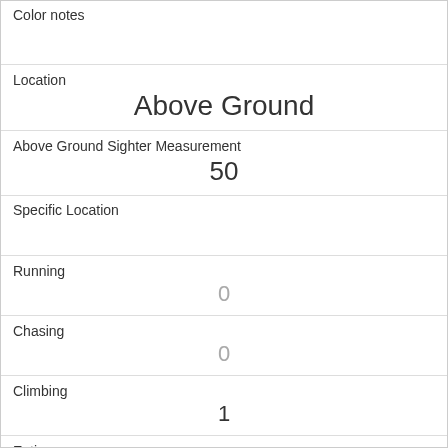Color notes
Location
Above Ground
Above Ground Sighter Measurement
50
Specific Location
Running
0
Chasing
0
Climbing
1
Eating
0
Foraging
0
Other Activities